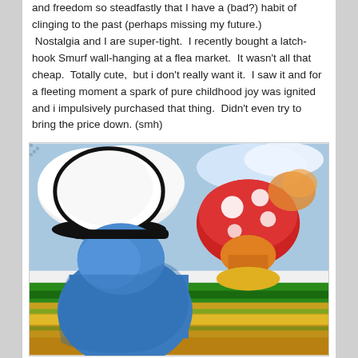and freedom so steadfastly that I have a (bad?) habit of clinging to the past (perhaps missing my future.) Nostalgia and I are super-tight.  I recently bought a latch-hook Smurf wall-hanging at a flea market.  It wasn't all that cheap.  Totally cute,  but i don't really want it.  I saw it and for a fleeting moment a spark of pure childhood joy was ignited and i impulsively purchased that thing.  Didn't even try to bring the price down. (smh)
[Figure (photo): A latch-hook Smurf wall-hanging showing a blue Smurf character with a white hat on the left, and a red and white mushroom with orange and yellow coloring on the right. The background has blue sky with white clouds at the top, and green and yellow/gold striped ground at the bottom.]